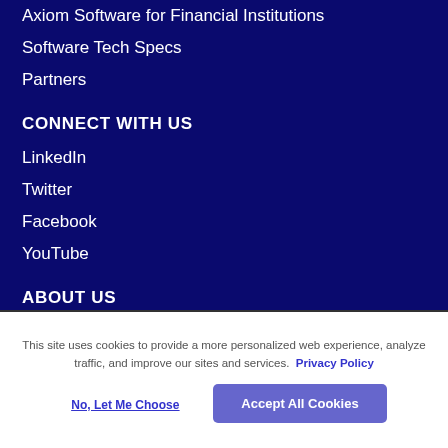Axiom Software for Financial Institutions
Software Tech Specs
Partners
CONNECT WITH US
LinkedIn
Twitter
Facebook
YouTube
ABOUT US
Careers
This site uses cookies to provide a more personalized web experience, analyze traffic, and improve our sites and services. Privacy Policy
No, Let Me Choose
Accept All Cookies